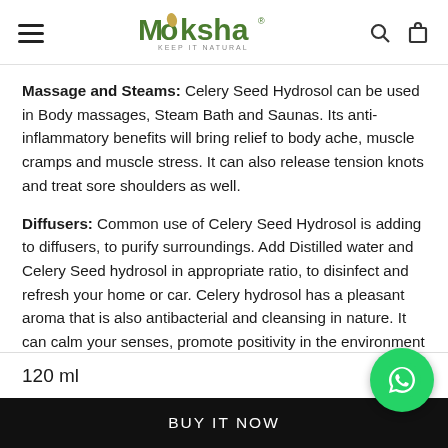Moksha – KEEP IT NATURAL
Massage and Steams: Celery Seed Hydrosol can be used in Body massages, Steam Bath and Saunas. Its anti-inflammatory benefits will bring relief to body ache, muscle cramps and muscle stress. It can also release tension knots and treat sore shoulders as well.
Diffusers: Common use of Celery Seed Hydrosol is adding to diffusers, to purify surroundings. Add Distilled water and Celery Seed hydrosol in appropriate ratio, to disinfect and refresh your home or car. Celery hydrosol has a pleasant aroma that is also antibacterial and cleansing in nature. It can calm your senses, promote positivity in the environment and also repel mosquitoes and bugs.
Natural Perfumers...
120 ml
BUY IT NOW